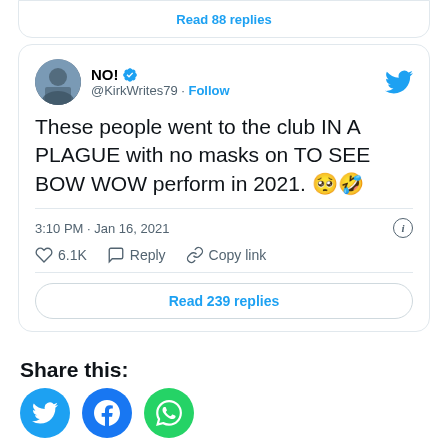Read 88 replies
[Figure (screenshot): Tweet from @KirkWrites79 (display name NO! with verified badge). Tweet text: These people went to the club IN A PLAGUE with no masks on TO SEE BOW WOW perform in 2021. [worried face emoji][laughing-crying emoji]. Posted at 3:10 PM · Jan 16, 2021. 6.1K likes. Actions: Reply, Copy link. Read 239 replies button.]
Share this:
[Figure (illustration): Three social share icon buttons: Twitter (blue circle), Facebook (blue circle), WhatsApp (green circle)]